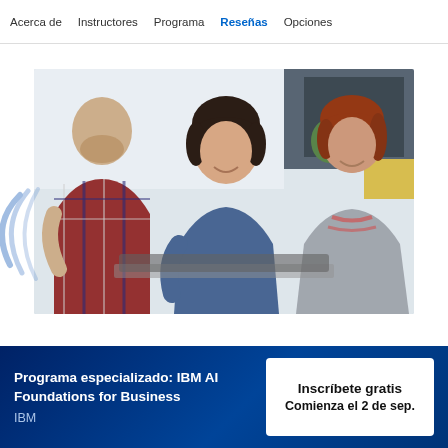Acerca de   Instructores   Programa   Reseñas   Opciones
[Figure (photo): Three people working together looking at a laptop or document; two women and one man in a bright office setting.]
Programa especializado: IBM AI Foundations for Business
IBM
Inscríbete gratis
Comienza el 2 de sep.